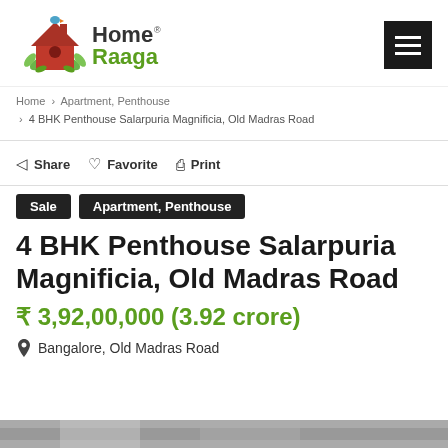[Figure (logo): Home Raaga logo with birdhouse icon and hamburger menu icon]
Home > Apartment, Penthouse > 4 BHK Penthouse Salarpuria Magnificia, Old Madras Road
Share   Favorite   Print
Sale   Apartment, Penthouse
4 BHK Penthouse Salarpuria Magnificia, Old Madras Road
₹ 3,92,00,000 (3.92 crore)
Bangalore, Old Madras Road
[Figure (photo): Bottom strip showing partial property image]